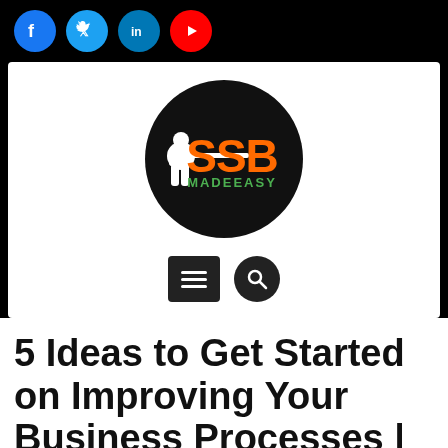[Figure (logo): Social media icons: Facebook (blue circle), Twitter (blue circle), LinkedIn (blue circle), YouTube (red circle)]
[Figure (logo): SSB MadeEasy logo: black circle with white sniper silhouette, orange SSB text and green MADEEASY text, with menu and search icons below]
5 Ideas to Get Started on Improving Your Business Processes |